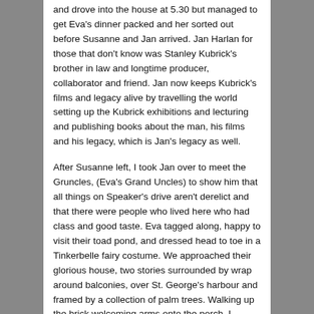and drove into the house at 5.30 but managed to get Eva's dinner packed and her sorted out before Susanne and Jan arrived. Jan Harlan for those that don't know was Stanley Kubrick's brother in law and longtime producer, collaborator and friend. Jan now keeps Kubrick's films and legacy alive by travelling the world setting up the Kubrick exhibitions and lecturing and publishing books about the man, his films and his legacy, which is Jan's legacy as well.

After Susanne left, I took Jan over to meet the Gruncles, (Eva's Grand Uncles) to show him that all things on Speaker's drive aren't derelict and that there were people who lived here who had class and good taste. Eva tagged along, happy to visit their toad pond, and dressed head to toe in a Tinkerbelle fairy costume. We approached their glorious house, two stories surrounded by wrap around balconies, over St. George's harbour and framed by a collection of palm trees. Walking up the brick welcoming arms onto the porch, I detected a slight reluctance in the little fairies hand I was holding. I nudged her along.